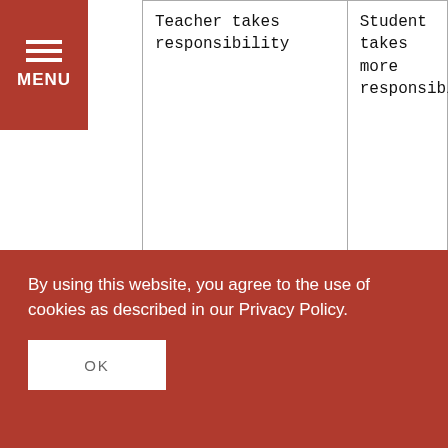|  | Teacher takes responsibility | Student takes more responsibility |
| --- | --- | --- |
|  | Teacher takes responsibility | Student takes more responsibility |
|  | Emphasis on discipline and respect for authority | Emphasis on free-choice and authority respect for the individual |
By using this website, you agree to the use of cookies as described in our Privacy Policy.